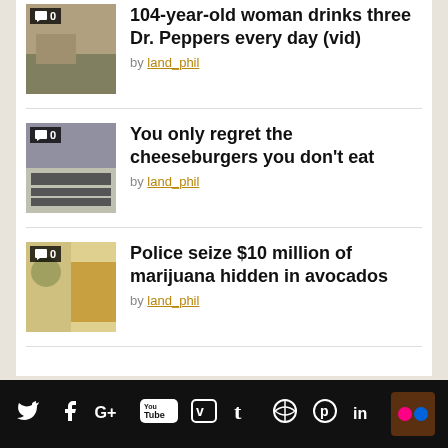104-year-old woman drinks three Dr. Peppers every day (vid) by land_phil
You only regret the cheeseburgers you don't eat by land_phil
Police seize $10 million of marijuana hidden in avocados by land_phil
Social media icons: Twitter, Facebook, Google+, YouTube, Vimeo, Tumblr, Dribbble, Pinterest, LinkedIn, Flickr